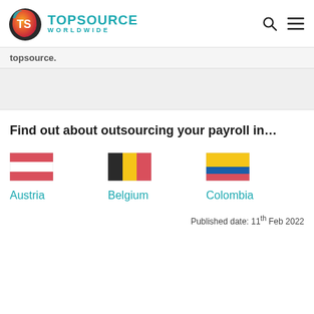[Figure (logo): TopSource Worldwide logo with TS icon and teal text]
topsource.
Find out about outsourcing your payroll in…
[Figure (illustration): Austria flag emoji]
Austria
[Figure (illustration): Belgium flag emoji]
Belgium
[Figure (illustration): Colombia flag emoji]
Colombia
Published date: 11th Feb 2022